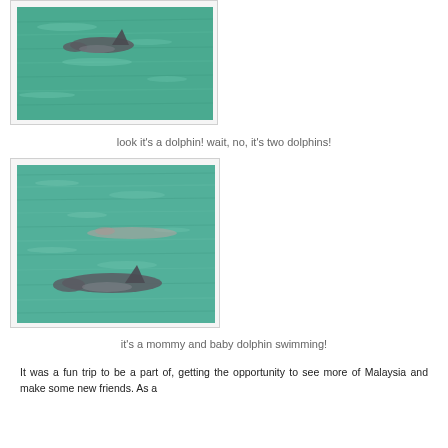[Figure (photo): Photo of a dolphin swimming in teal/green ocean water, showing the dorsal fin above the surface]
look it's a dolphin! wait, no, it's two dolphins!
[Figure (photo): Photo of a mommy and baby dolphin swimming in teal/green ocean water, both visible near the surface]
it's a mommy and baby dolphin swimming!
It was a fun trip to be a part of, getting the opportunity to see more of Malaysia and make some new friends. As a